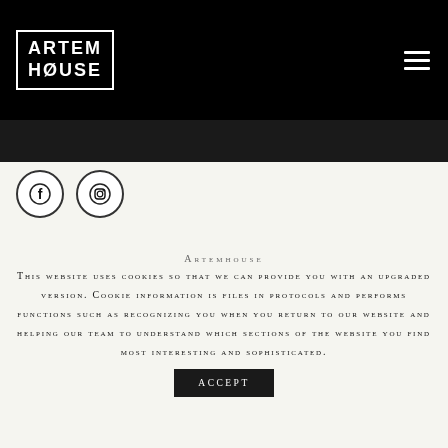ARTEM HOUSE
[Figure (logo): Artem House logo in white on black background with bordered box, and hamburger menu icon top right]
[Figure (other): Facebook and Instagram social media icons (circular, dark border)]
Artemhouse
This website uses cookies so that we can provide you with an upgraded version. Cookie information is files in protocols and performs functions such as recognizing you when you return to our website and helping our team to understand which sections of the website you find most interesting and sophisticated.
ACCEPT